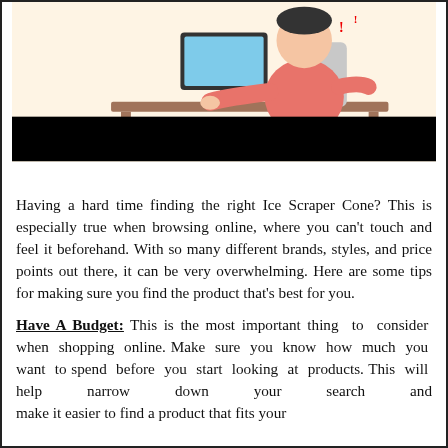[Figure (illustration): Illustration of a person in a pink/red outfit sitting at a desk using a computer, shown from a side angle. The background is light cream/yellow. Below the illustration is a solid black banner bar.]
Having a hard time finding the right Ice Scraper Cone? This is especially true when browsing online, where you can't touch and feel it beforehand. With so many different brands, styles, and price points out there, it can be very overwhelming. Here are some tips for making sure you find the product that's best for you.
Have A Budget: This is the most important thing to consider when shopping online. Make sure you know how much you want to spend before you start looking at products. This will help narrow down your search and make it easier to find a product that fits your